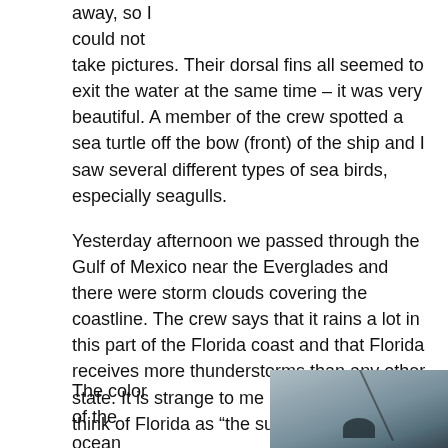away, so I could not take pictures. Their dorsal fins all seemed to exit the water at the same time – it was very beautiful. A member of the crew spotted a sea turtle off the bow (front) of the ship and I saw several different types of sea birds, especially seagulls.
Yesterday afternoon we passed through the Gulf of Mexico near the Everglades and there were storm clouds covering the coastline. The crew says that it rains a lot in this part of the Florida coast and that Florida receives more thunderstorms than any other state. It is strange to me because I always think of Florida as “the sunshine state.”
The color of the ocean
[Figure (photo): A photograph showing a grey overcast sky with a dark silhouette of what appears to be a bird or marine animal, and a diagonal line (possibly a ship's mast or fishing rod) crossing the frame.]